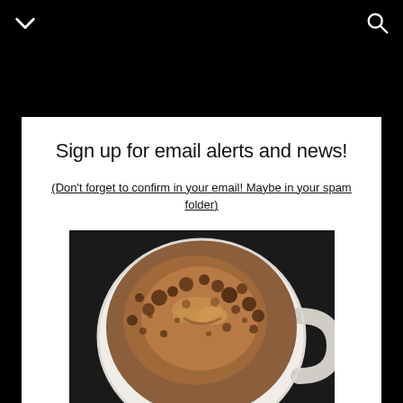Sign up for email alerts and news!
(Don't forget to confirm in your email! Maybe in your spam folder)
[Figure (photo): Close-up top-down view of a white coffee mug filled with frothy espresso/coffee with bubble patterns on a dark background]